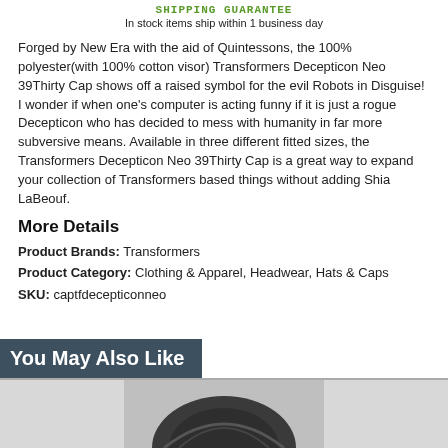SHIPPING GUARANTEE
In stock items ship within 1 business day
Forged by New Era with the aid of Quintessons, the 100% polyester(with 100% cotton visor) Transformers Decepticon Neo 39Thirty Cap shows off a raised symbol for the evil Robots in Disguise! I wonder if when one's computer is acting funny if it is just a rogue Decepticon who has decided to mess with humanity in far more subversive means. Available in three different fitted sizes, the Transformers Decepticon Neo 39Thirty Cap is a great way to expand your collection of Transformers based things without adding Shia LaBeouf.
More Details
Product Brands: Transformers
Product Category: Clothing & Apparel, Headwear, Hats & Caps
SKU: captfdecepticonneo
You May Also Like
[Figure (photo): Dark colored shirt/apparel product photo at the bottom of the page]